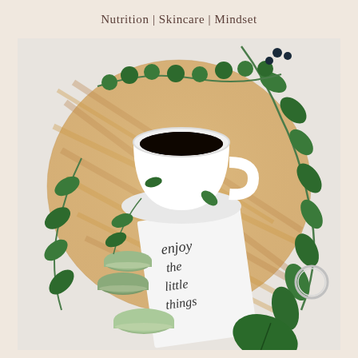Nutrition | Skincare | Mindset
[Figure (photo): Flat lay photo on a warm cream background: a round wooden striped cutting board topped with a white ceramic cup of black coffee, several green macarons, lush green leafy branches, and a white card with cursive handwriting reading 'enjoy the little things'. A silver ring is visible on the right side.]